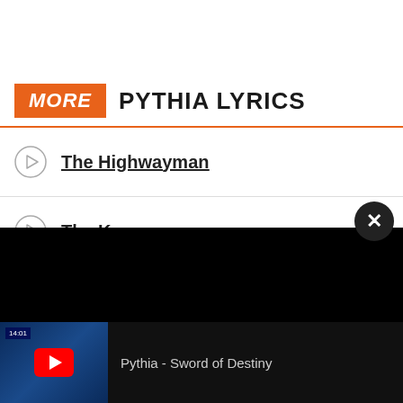MORE PYTHIA LYRICS
The Highwayman
The Key
The King's Ruin
Moon On The Mountain
[Figure (screenshot): YouTube video player thumbnail showing Pythia - Sword of Destiny with red play button on dark blue background]
Pythia - Sword of Destiny